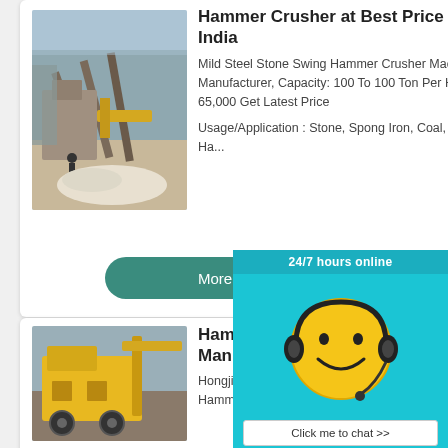[Figure (photo): Industrial stone crushing plant with equipment and machinery outdoors]
Hammer Crusher at Best Price in India
Mild Steel Stone Swing Hammer Crusher Machine Manufacturer, Capacity: 100 To 100 Ton Per Hour ₹ 65,000 Get Latest Price
Usage/Application : Stone, Spong Iron, Coal, Bricks, Ha...
More
[Figure (photo): Yellow hammer crusher machine equipment]
Hammer Crusher - MillHammer Crusher Manufacturers ...
Hongji Group Products
Hammer crusher (hammer mill) are
24/7 hours online
[Figure (illustration): Yellow smiley face emoji with headset/headphones customer service icon]
Click me to chat >>
Enquiry
superbrian707@gm